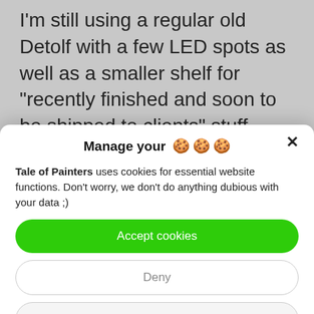I'm still using a regular old Detolf with a few LED spots as well as a smaller shelf for "recently finished and soon to be shipped to clients" stuff.

Both isn't dustproofed though (pretty
Manage your 🍪🍪🍪
Tale of Painters uses cookies for essential website functions. Don't worry, we don't do anything dubious with your data ;)
Accept cookies
Deny
View preferences